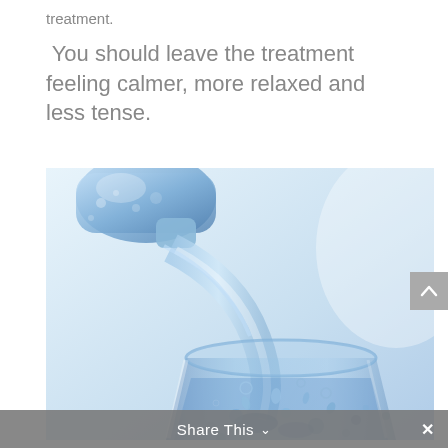treatment.
You should leave the treatment feeling calmer, more relaxed and less tense.
[Figure (photo): Water being poured from a bottle into a clear glass, close-up shot with blue tones and water splash]
Share This ∨  ×